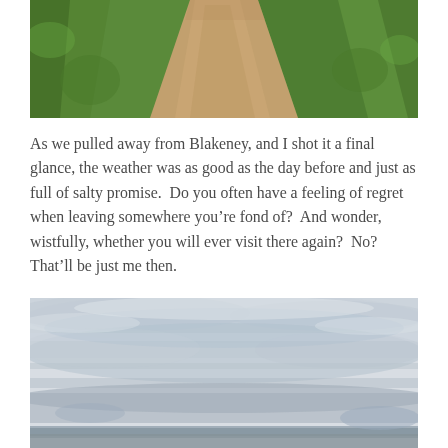[Figure (photo): A dirt path/trail running through green grassy fields, viewed from above/behind, with green vegetation on both sides]
As we pulled away from Blakeney, and I shot it a final glance, the weather was as good as the day before and just as full of salty promise.  Do you often have a feeling of regret when leaving somewhere you’re fond of?  And wonder, wistfully, whether you will ever visit there again?  No?  That’ll be just me then.
[Figure (photo): A wide landscape photo with an overcast cloudy sky, light grey and white clouds, with a thin strip of land/water visible at the bottom]